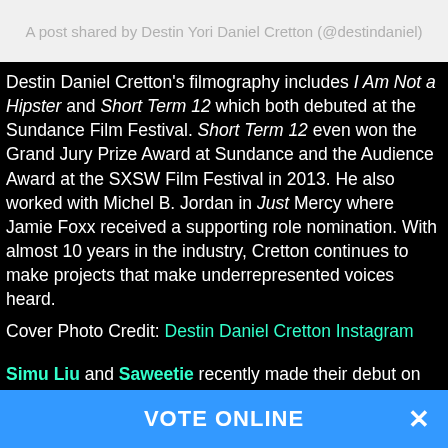A post shared by Destin Yori Daniel Cretton (@destindaniel)
Destin Daniel Cretton's filmography includes I Am Not a Hipster and Short Term 12 which both debuted at the Sundance Film Festival. Short Term 12 even won the Grand Jury Prize Award at Sundance and the Audience Award at the SXSW Film Festival in 2013. He also worked with Michel B. Jordan in Just Mercy where Jamie Foxx received a supporting role nomination. With almost 10 years in the industry, Cretton continues to make projects that make underrepresented voices heard.
Cover Photo Credit: Destin Daniel Cretton Instagram
Simu Liu and Saweetie recently made their debut on Saturday Night Live (SNL) with Simu hosting and Saweetie as the musical guest lighting up the stage. Simu's opening monologue went smooth and set it up for a great night of sketches. His
VOTE ONLINE